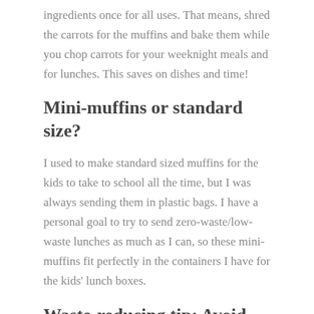ingredients once for all uses. That means, shred the carrots for the muffins and bake them while you chop carrots for your weeknight meals and for lunches. This saves on dishes and time!
Mini-muffins or standard size?
I used to make standard sized muffins for the kids to take to school all the time, but I was always sending them in plastic bags. I have a personal goal to try to send zero-waste/low-waste lunches as much as I can, so these mini-muffins fit perfectly in the containers I have for the kids' lunch boxes.
Waste-reducing tip: Avoid paper muffin tin liners